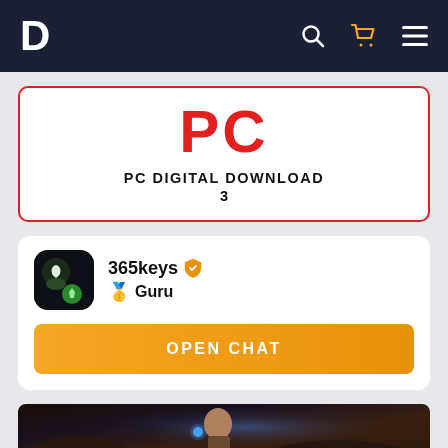D - header navigation with logo, search, cart, and menu icons
[Figure (screenshot): PC Digital Download product card with red border, red PC logo text, label 'PC DIGITAL DOWNLOAD' and number '3']
365keys Guru
OPEN CHAT
[Figure (photo): Game screenshot showing a character in a sci-fi environment]